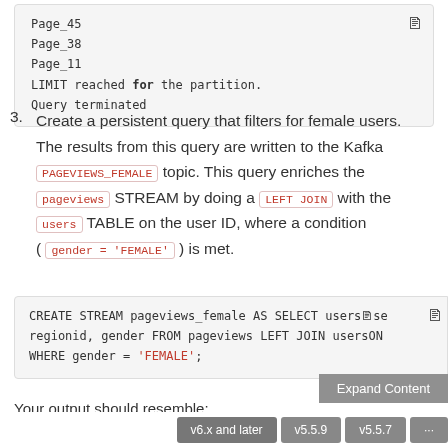[Figure (screenshot): Code block showing Page_45, Page_38, Page_11, LIMIT reached for the partition., Query terminated with a copy icon in top right]
3. Create a persistent query that filters for female users. The results from this query are written to the Kafka PAGEVIEWS_FEMALE topic. This query enriches the pageviews STREAM by doing a LEFT JOIN with the users TABLE on the user ID, where a condition ( gender = 'FEMALE' ) is met.
[Figure (screenshot): Code block: CREATE STREAM pageviews_female AS SELECT users...se regionid, gender FROM pageviews LEFT JOIN users ON WHERE gender = 'FEMALE';]
Your output should resemble:
v6.x and later  v5.5.9  v5.5.7  ...